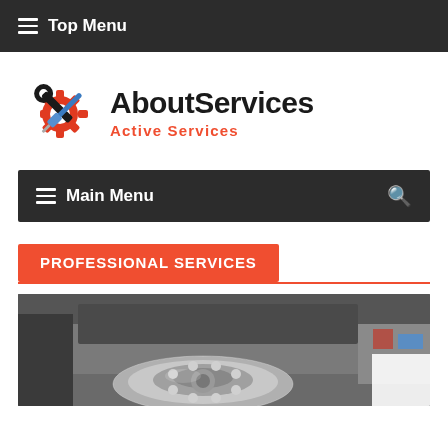☰ Top Menu
[Figure (logo): AboutServices logo with red gear, wrench and blue screwdriver icon, company name in black bold text, tagline 'Active Services' in red]
☰ Main Menu 🔍
PROFESSIONAL SERVICES
[Figure (photo): Close-up photo of automotive wheel hub and brake assembly parts in a workshop/garage setting]